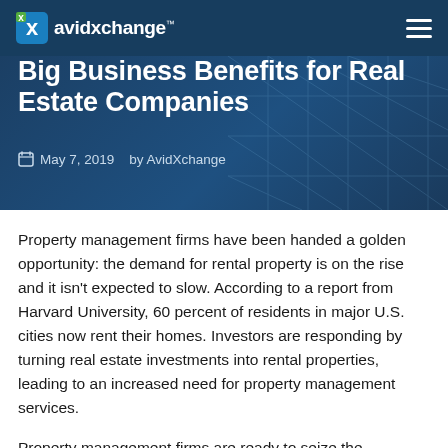avidxchange™
Big Business Benefits for Real Estate Companies
May 7, 2019   by AvidXchange
Property management firms have been handed a golden opportunity: the demand for rental property is on the rise and it isn't expected to slow. According to a report from Harvard University, 60 percent of residents in major U.S. cities now rent their homes. Investors are responding by turning real estate investments into rental properties, leading to an increased need for property management services.
Property management firms are ready to seize the